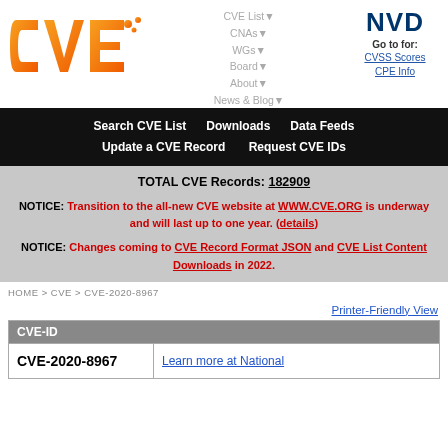[Figure (logo): CVE logo (orange/yellow gradient letters) and NVD logo with navigation links]
CVE List▼  CNAs▼  WGs▼  Board▼  About▼  News & Blog▼  NVD Go to for: CVSS Scores  CPE Info
Search CVE List    Downloads    Data Feeds    Update a CVE Record    Request CVE IDs
TOTAL CVE Records: 182909
NOTICE: Transition to the all-new CVE website at WWW.CVE.ORG is underway and will last up to one year. (details)
NOTICE: Changes coming to CVE Record Format JSON and CVE List Content Downloads in 2022.
HOME > CVE > CVE-2020-8967
Printer-Friendly View
| CVE-ID |  |
| --- | --- |
| CVE-2020-8967 | Learn more at National |